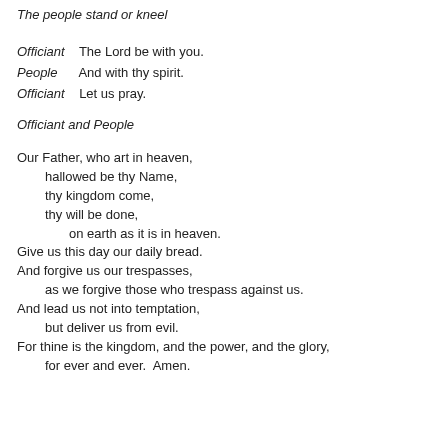The people stand or kneel
Officiant    The Lord be with you.
People      And with thy spirit.
Officiant    Let us pray.
Officiant and People
Our Father, who art in heaven,
    hallowed be thy Name,
    thy kingdom come,
    thy will be done,
        on earth as it is in heaven.
Give us this day our daily bread.
And forgive us our trespasses,
    as we forgive those who trespass against us.
And lead us not into temptation,
    but deliver us from evil.
For thine is the kingdom, and the power, and the glory,
    for ever and ever.  Amen.